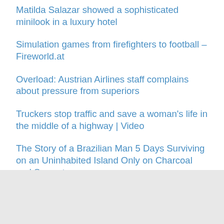Matilda Salazar showed a sophisticated minilook in a luxury hotel
Simulation games from firefighters to football – Fireworld.at
Overload: Austrian Airlines staff complains about pressure from superiors
Truckers stop traffic and save a woman’s life in the middle of a highway | Video
The Story of a Brazilian Man 5 Days Surviving on an Uninhabited Island Only on Charcoal and Seawater